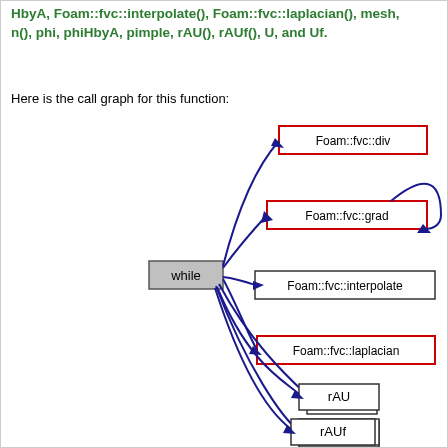HbyA, Foam::fvc::interpolate(), Foam::fvc::laplacian(), mesh, n(), phi, phiHbyA, pimple, rAU(), rAUf(), U, and Uf.
Here is the call graph for this function:
[Figure (flowchart): Call graph showing 'while' node (gray box) connecting with arrows to: Foam::fvc::div (red border box, top), Foam::fvc::grad (red border box, with self-loop arrow), Foam::fvc::interpolate (black border box), Foam::fvc::laplacian (red border box), n (black border box), rAU (black border box), rAUf (black border box). All arrows are dark blue and flow from 'while' leftward to the target nodes on the right side.]